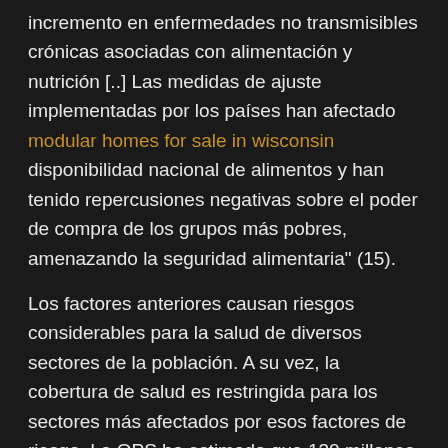incremento en enfermedades no transmisibles crónicas asociadas con alimentación y nutrición [..] Las medidas de ajuste implementadas por los países han afectado modular homes for sale in wisconsin disponibilidad nacional de alimentos y han tenido repercusiones negativas sobre el poder de compra de los grupos más pobres, amenazando la seguridad alimentaria" (15).
Los factores anteriores causan riesgos considerables para la salud de diversos sectores de la población. A su vez, la cobertura de salud es restringida para los sectores más afectados por esos factores de riesgo. La OPS ha estimado que 130 millones de latinoamericanos carecen de acceso regular a servicios de salud.
Problemas en educación
En la Región se han hecho importantes adelantos en